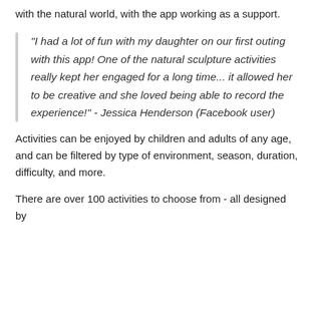with the natural world, with the app working as a support.
“I had a lot of fun with my daughter on our first outing with this app! One of the natural sculpture activities really kept her engaged for a long time... it allowed her to be creative and she loved being able to record the experience!” - Jessica Henderson (Facebook user)
Activities can be enjoyed by children and adults of any age, and can be filtered by type of environment, season, duration, difficulty, and more.
There are over 100 activities to choose from - all designed by